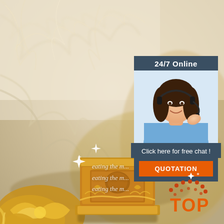[Figure (photo): Background image of white/cream fluffy fur with a golden ornate decorative box/book in the center-left and golden baroque decorative elements at the bottom-left. Sparkle/star light effects visible. Overall luxurious feel.]
[Figure (infographic): Customer service widget panel with dark blue-grey background. Header reads '24/7 Online'. Contains a photo of a smiling female customer service representative wearing a headset and blue shirt. Below reads 'Click here for free chat!' with an orange button labeled 'QUOTATION'.]
eating the m...
eating the m...
eating the m...
[Figure (logo): TOP logo with orange dot/arc arrangement above the word TOP in orange bold letters, with sparkle stars above in white.]